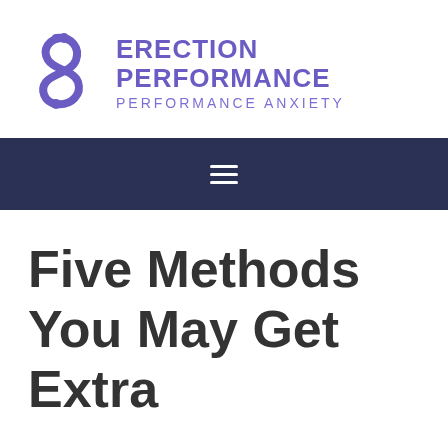[Figure (logo): Erection Performance Performance Anxiety logo with stylized S-shaped figure icon in purple and bold purple text]
[Figure (other): Dark navy navigation bar with hamburger menu icon (three horizontal lines) centered]
Five Methods You May Get Extra